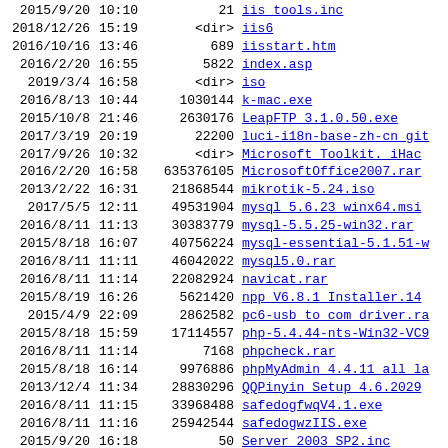| Date | Time | Size | Name |
| --- | --- | --- | --- |
| 2015/9/20 | 10:10 | 21 | iis_tools.inc |
| 2018/12/26 | 15:19 | <dir> | iis6 |
| 2016/10/16 | 13:46 | 689 | iisstart.htm |
| 2016/2/20 | 16:55 | 5822 | index.asp |
| 2019/3/4 | 16:58 | <dir> | iso |
| 2016/8/13 | 10:44 | 1030144 | k-mac.exe |
| 2015/10/8 | 21:46 | 2630176 | LeapFTP 3.1.0.50.exe |
| 2017/3/19 | 20:19 | 22200 | luci-i18n-base-zh-cn_git |
| 2017/9/26 | 10:32 | <dir> | Microsoft Toolkit. iHac |
| 2016/2/20 | 16:58 | 635376105 | MicrosoftOffice2007.rar |
| 2013/2/22 | 16:31 | 21868544 | mikrotik-5.24.iso |
| 2017/5/5 | 12:11 | 49531904 | mysql 5.6.23 winx64.msi |
| 2016/8/11 | 11:13 | 30383779 | mysql-5.5.25-win32.rar |
| 2015/8/18 | 16:07 | 40756224 | mysql-essential-5.1.51-w |
| 2016/8/11 | 11:11 | 46042022 | mysql5.0.rar |
| 2016/8/11 | 11:14 | 22082924 | navicat.rar |
| 2015/8/19 | 16:26 | 5621420 | npp V6.8.1 Installer.14 |
| 2015/4/9 | 22:09 | 2862582 | pc6-usb to com driver.ra |
| 2015/8/18 | 15:59 | 17114557 | php-5.4.44-nts-Win32-VC9 |
| 2016/8/11 | 11:14 | 7168 | phpcheck.rar |
| 2015/8/18 | 16:14 | 9976886 | phpMyAdmin 4.4.11 all la |
| 2013/12/4 | 11:34 | 28830296 | QQPinyin Setup 4.6.2029 |
| 2016/8/11 | 11:15 | 33968488 | safedogfwqV4.1.exe |
| 2016/8/11 | 11:16 | 25942544 | safedogwzIIS.exe |
| 2015/9/20 | 16:18 | 50 | Server 2003 SP2.inc |
| 2016/12/28 | 16:02 | 59807806 | sqlserver2005chs.zip |
| 2015/9/20 | 16:18 | 18 | System Development.inc |
| 2015/9/20 | 16:18 | 344 | tip.htm |
| 2017/3/29 | 22:01 | 380132968 | VMware-viclient-all-6.0 |
| 2016/7/31 | 16:47 | 307503264 | VMware-workstation-full- |
| 2009/2/6 | 22:35 | 424 | usb_config |